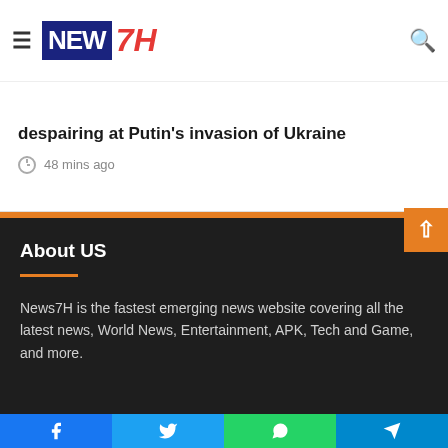NEW7H
despairing at Putin's invasion of Ukraine
48 mins ago
About US
News7H is the fastest emerging news website covering all the latest news, World News, Entertainment, APK, Tech and Game, and more.